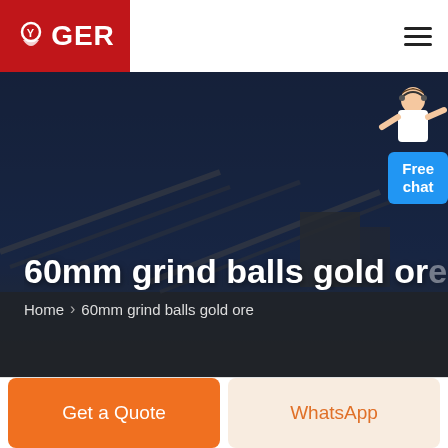GER
[Figure (photo): Industrial mining facility with conveyor belts at dusk, dark blue sky background]
60mm grind balls gold ore
Home › 60mm grind balls gold ore
[Figure (illustration): Customer service representative with Free chat button]
Get a Quote
WhatsApp